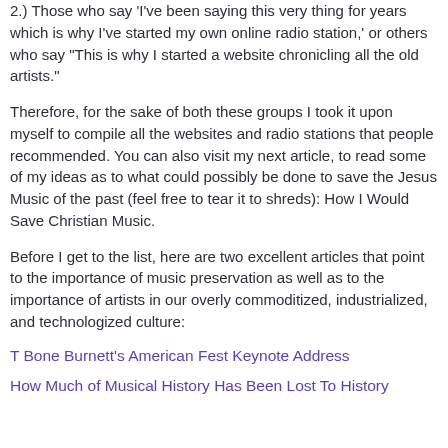2.) Those who say 'I've been saying this very thing for years which is why I've started my own online radio station,' or others who say "This is why I started a website chronicling all the old artists."
Therefore, for the sake of both these groups I took it upon myself to compile all the websites and radio stations that people recommended. You can also visit my next article, to read some of my ideas as to what could possibly be done to save the Jesus Music of the past (feel free to tear it to shreds): How I Would Save Christian Music.
Before I get to the list, here are two excellent articles that point to the importance of music preservation as well as to the importance of artists in our overly commoditized, industrialized, and technologized culture:
T Bone Burnett's American Fest Keynote Address
How Much of Musical History Has Been Lost To History